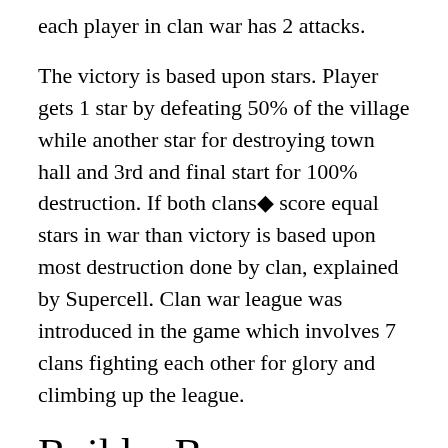each player in clan war has 2 attacks.
The victory is based upon stars. Player gets 1 star by defeating 50% of the village while another star for destroying town hall and 3rd and final start for 100% destruction. If both clans◆ score equal stars in war than victory is based upon most destruction done by clan, explained by Supercell. Clan war league was introduced in the game which involves 7 clans fighting each other for glory and climbing up the league.
Builder Base
Supercell released the new ◆Builder Base◆ mode to the game on May 22, 2017. It allows